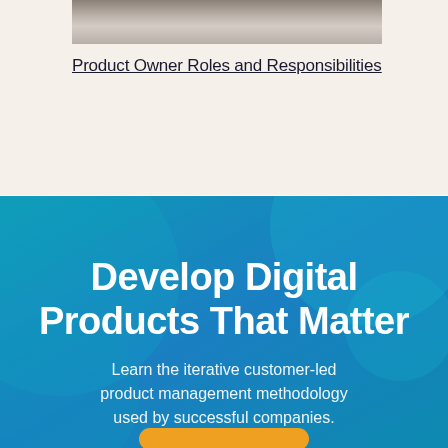[Figure (photo): Partial view of a person working at a desk, cropped at top of page]
Product Owner Roles and Responsibilities
[Figure (infographic): Blue gradient background section with circular bokeh light effects in teal and blue tones]
Develop Digital Products That Matter
Learn the iterative customer-led product management methodology used by successful companies.